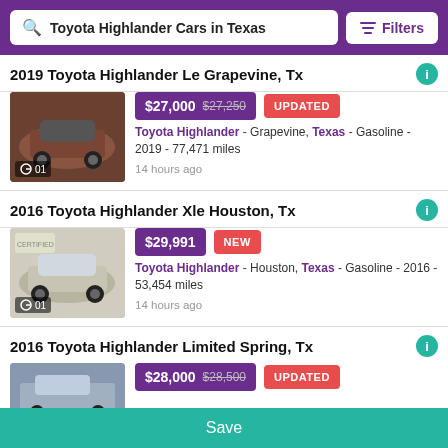Toyota Highlander Cars in Texas | Filters
2019 Toyota Highlander Le Grapevine, Tx
$27,000 $27,250 UPDATED | Toyota Highlander - Grapevine, Texas - Gasoline - 2019 - 77,471 miles | 14 hours ago
2016 Toyota Highlander Xle Houston, Tx
$29,991 NEW | Toyota Highlander - Houston, Texas - Gasoline - 2016 - 53,454 miles | 14 hours ago
2016 Toyota Highlander Limited Spring, Tx
$28,000 $28,500 UPDATED
Save